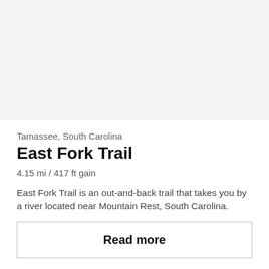[Figure (photo): Top image area placeholder (trail/nature photo, appears as light gray/blank in this rendering)]
Tamassee, South Carolina
East Fork Trail
4.15 mi / 417 ft gain
East Fork Trail is an out-and-back trail that takes you by a river located near Mountain Rest, South Carolina.
Read more